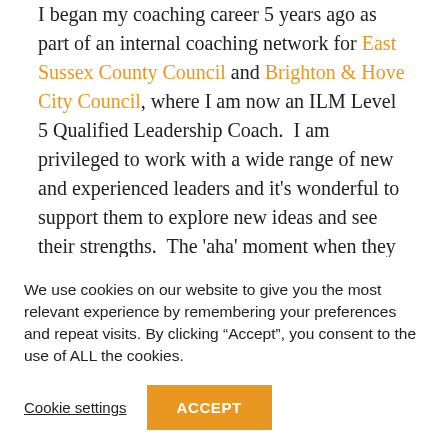I began my coaching career 5 years ago as part of an internal coaching network for East Sussex County Council and Brighton & Hove City Council, where I am now an ILM Level 5 Qualified Leadership Coach. I am privileged to work with a wide range of new and experienced leaders and it's wonderful to support them to explore new ideas and see their strengths. The 'aha' moment when they find a great solution is
We use cookies on our website to give you the most relevant experience by remembering your preferences and repeat visits. By clicking "Accept", you consent to the use of ALL the cookies.
Cookie settings
ACCEPT